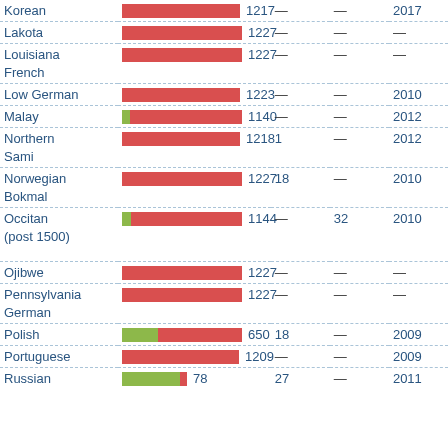| Language | Bar | Count1 | Count2 | Count3 | Year |
| --- | --- | --- | --- | --- | --- |
| Korean | 1217 | — | — | 2017 |
| Lakota | 1227 | — | — | — |
| Louisiana French | 1227 | — | — | — |
| Low German | 1223 | — | — | 2010 |
| Malay | 1140 | — | — | 2012 |
| Northern Sami | 1218 | 1 | — | 2012 |
| Norwegian Bokmal | 1227 | 18 | — | 2010 |
| Occitan (post 1500) | 1144 | — | 32 | 2010 |
| Ojibwe | 1227 | — | — | — |
| Pennsylvania German | 1227 | — | — | — |
| Polish | 650 | 18 | — | 2009 |
| Portuguese | 1209 | — | — | 2009 |
| Russian | 78 | 27 | — | 2011 |